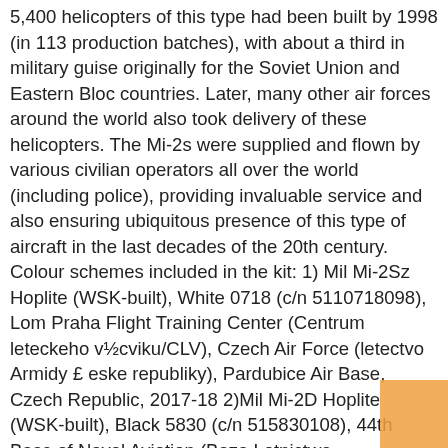5,400 helicopters of this type had been built by 1998 (in 113 production batches), with about a third in military guise originally for the Soviet Union and Eastern Bloc countries. Later, many other air forces around the world also took delivery of these helicopters. The Mi-2s were supplied and flown by various civilian operators all over the world (including police), providing invaluable service and also ensuring ubiquitous presence of this type of aircraft in the last decades of the 20th century. Colour schemes included in the kit: 1) Mil Mi-2Sz Hoplite (WSK-built), White 0718 (c/n 5110718098), Lom Praha Flight Training Center (Centrum leteckeho v½cviku/CLV), Czech Air Force (letectvo Armidy £ eske republiky), Pardubice Air Base, Czech Republic, 2017-18 2)Mil Mi-2D Hoplite (WSK-built), Black 5830 (c/n 515830108), 44th Base of Naval Aviation (Baza Lotnictwa Morskiego/BLotM), Darlowo Air Group (Grupa Lotnicza), Polish Navy (Marynarka Wojenna Rzeczypospolitej Polskiej/MWRP), Darlowo Air Base, Poland, summer 2015 3)Mil Mi-2 Hoplite (WSK-built, ex-Soviet Aeroflot aircraft), Red 157 (c/n 529221055), 1st Aviation Sq. (Aviacijias Eskadrila), Helicopter Section (Helikopteru Posms), Latvian Air Force (Latvijas Gaisa Sp£'ki), Lielv£rde Air Base, Latvia, the 1990s 4)Mil Mi-2U Hoplite